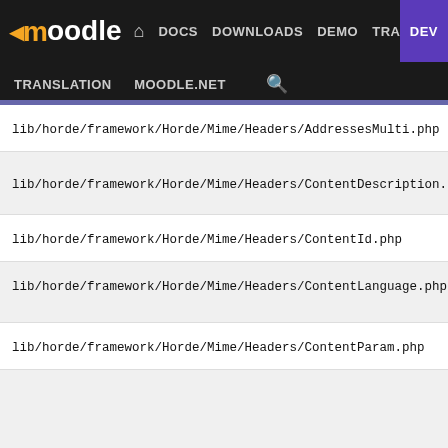moodle DOCS DOWNLOADS DEMO TRACKER DEV TRANSLATION MOODLE.NET
lib/horde/framework/Horde/Mime/Headers/AddressesMulti.php
lib/horde/framework/Horde/Mime/Headers/ContentDescription.php
lib/horde/framework/Horde/Mime/Headers/ContentId.php
lib/horde/framework/Horde/Mime/Headers/ContentLanguage.php
lib/horde/framework/Horde/Mime/Headers/ContentParam.php